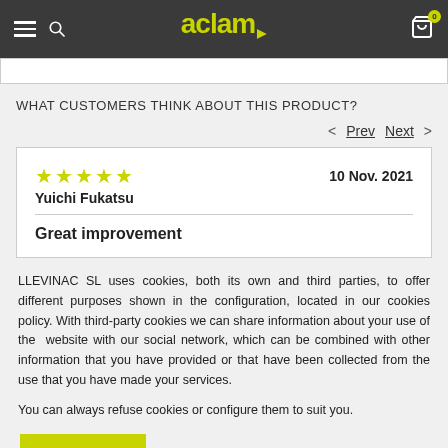aclam
WHAT CUSTOMERS THINK ABOUT THIS PRODUCT?
< Prev   Next >
★★★★★   10 Nov. 2021
Yuichi Fukatsu
Great improvement
LLEVINAC SL uses cookies, both its own and third parties, to offer different purposes shown in the configuration, located in our cookies policy. With third-party cookies we can share information about your use of the  website with our social network, which can be combined with other information that you have provided or that have been collected from the use that you have made your services.
You can always refuse cookies or configure them to suit you.
Accept
All configure